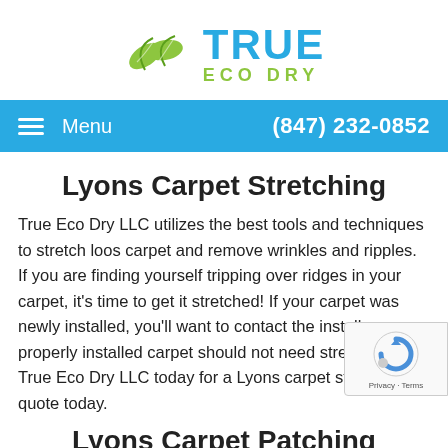[Figure (logo): True Eco Dry logo with two green leaves and blue/green text reading TRUE ECO DRY]
Menu   (847) 232-0852
Lyons Carpet Stretching
True Eco Dry LLC utilizes the best tools and techniques to stretch loos carpet and remove wrinkles and ripples. If you are finding yourself tripping over ridges in your carpet, it's time to get it stretched! If your carpet was newly installed, you'll want to contact the installer; properly installed carpet should not need stretching. Call True Eco Dry LLC today for a Lyons carpet stretching quote today.
Lyons Carpet Patching